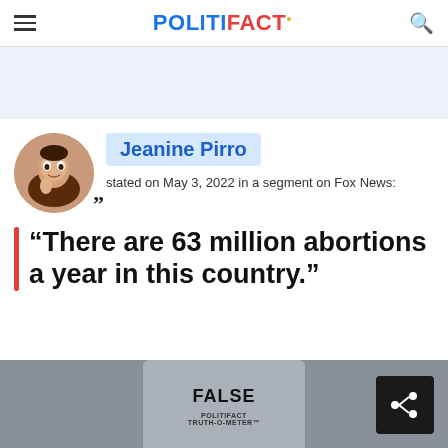POLITIFACT
[Figure (photo): Circular profile photo of Jeanine Pirro with quote mark icon]
Jeanine Pirro
stated on May 3, 2022 in a segment on Fox News:
“There are 63 million abortions a year in this country.”
[Figure (other): FALSE rating badge from PolitiFact Truth-O-Meter]